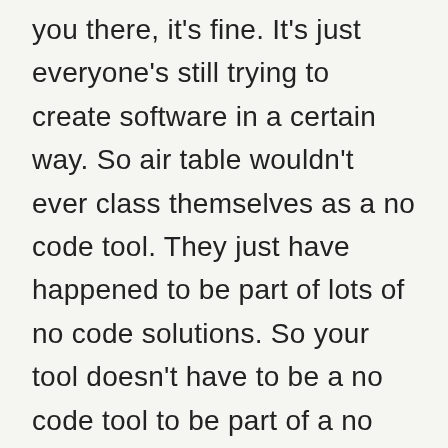you there, it's fine. It's just everyone's still trying to create software in a certain way. So air table wouldn't ever class themselves as a no code tool. They just have happened to be part of lots of no code solutions. So your tool doesn't have to be a no code tool to be part of a no code solution. Otherwise, like, there's no clear black and white. I mean, you could look a segment which is like very, like Cody event based tracking for marketing. But you could plug that in with Zapier to link to intercom and all that sort of stuff.